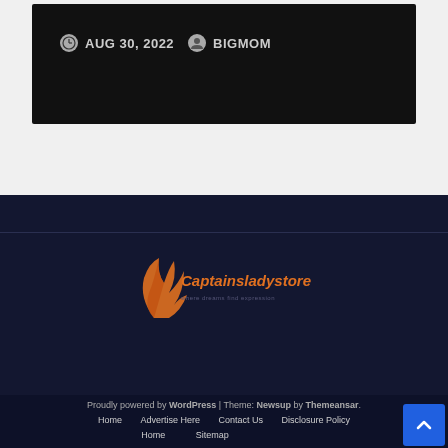AUG 30, 2022  BIGMOM
[Figure (logo): Captainsladystore logo with orange flame/feather icon and italic orange text, subtitle below]
Proudly powered by WordPress | Theme: Newsup by Themeansar.
Home  Advertise Here  Contact Us  Disclosure Policy
Home  Sitemap